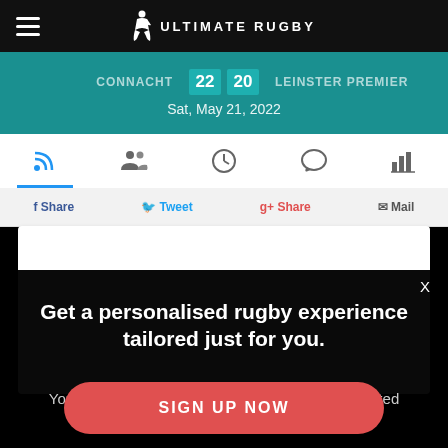ULTIMATE RUGBY
CONNACHT  22  20  LEINSTER PREMIER
Sat, May 21, 2022
[Figure (screenshot): Tab navigation bar with icons: RSS/feed, people/lineup, clock/timeline, chat/comments, bar chart/stats]
Share  Tweet  Share  Mail
[Figure (screenshot): Empty white content area]
X
Get a personalised rugby experience tailored just for you.
You have 0 free premium sessions left. Get unlimited access for only €9.99 per year.
SIGN UP NOW